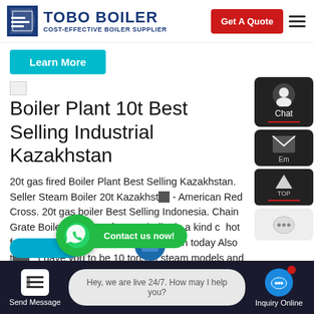TOBO BOILER - COST-EFFECTIVE BOILER SUPPLIER | Get A Quote
Learn More
Boiler Plant 10t Best Selling Industrial Kazakhstan
20t gas fired Boiler Plant Best Selling Kazakhstan. Seller Steam Boiler 20t Kazakhstan - American Red Cross. 20t gas boiler Best Selling Indonesia. Chain Grate Boiler. 10 tons of steam boiler is a kind of hot furnace but also the largest customer in today also than et gave you to be 10 tons of steam models and parameters summary 10
Send Message | Hey, we are live 24/7. How may I help you? | Inquiry Online